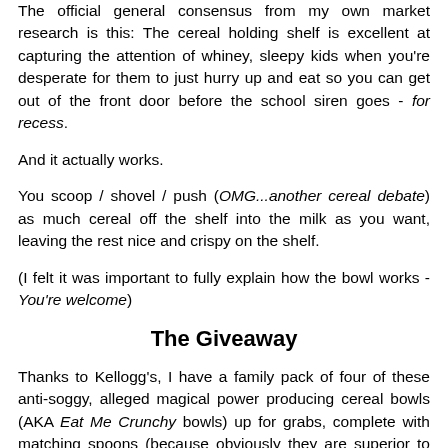The official general consensus from my own market research is this: The cereal holding shelf is excellent at capturing the attention of whiney, sleepy kids when you're desperate for them to just hurry up and eat so you can get out of the front door before the school siren goes - for recess.
And it actually works.
You scoop / shovel / push (OMG...another cereal debate) as much cereal off the shelf into the milk as you want, leaving the rest nice and crispy on the shelf.
(I felt it was important to fully explain how the bowl works - You're welcome)
The Giveaway
Thanks to Kellogg's, I have a family pack of four of these anti-soggy, alleged magical power producing cereal bowls (AKA Eat Me Crunchy bowls) up for grabs, complete with matching spoons (because obviously they are superior to regular spoons), and a selection of Kellogg's cereals.